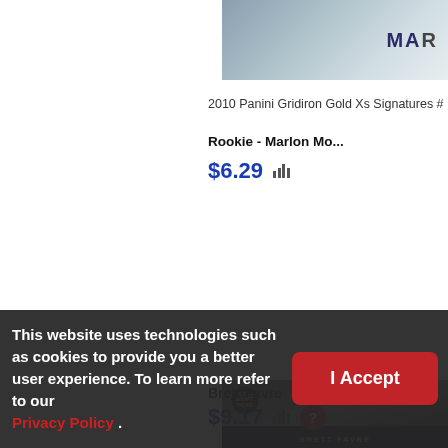[Figure (photo): Partial sports trading card image visible at top right - appears to show a player in dark uniform with 'MAR' text visible]
2010 Panini Gridiron Gold Xs Signatures #
Rookie - Marlon Mo...
$6.29
[Figure (photo): Ultra Draft Picks football trading card featuring Brett Favre in black and gold uniform, with COMCO watermark and 'BRETT FAVRE' label at bottom]
Brett Favre
$9.17
This website uses technologies such as cookies to provide you a better user experience. To learn more refer to our Privacy Policy .
I Accept